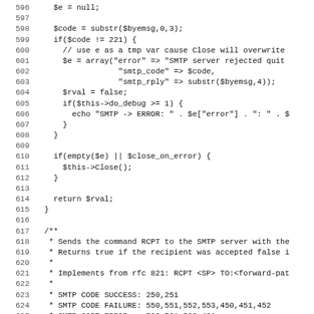PHP source code lines 596-627 showing SMTP quit/close logic and RCPT command documentation
[Figure (screenshot): PHP source code snippet showing lines 596-627 with SMTP server interaction code including error handling for quit command and documentation for RCPT command]